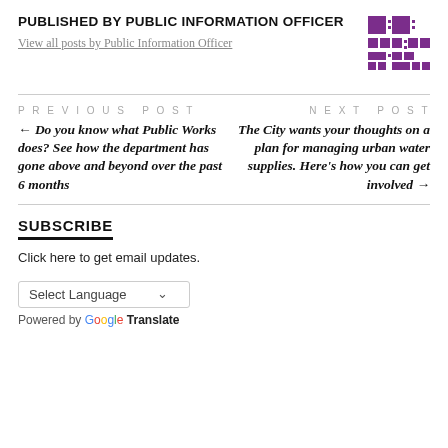PUBLISHED BY PUBLIC INFORMATION OFFICER
View all posts by Public Information Officer
[Figure (logo): Purple geometric logo with interlocking cross/star shapes]
PREVIOUS POST
← Do you know what Public Works does? See how the department has gone above and beyond over the past 6 months
NEXT POST
The City wants your thoughts on a plan for managing urban water supplies. Here's how you can get involved →
SUBSCRIBE
Click here to get email updates.
Select Language
Powered by Google Translate